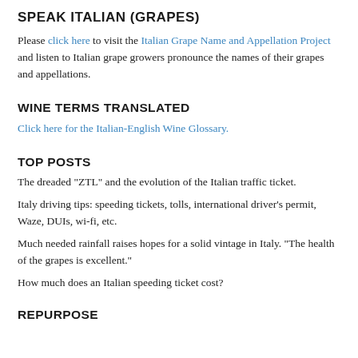SPEAK ITALIAN (GRAPES)
Please click here to visit the Italian Grape Name and Appellation Project and listen to Italian grape growers pronounce the names of their grapes and appellations.
WINE TERMS TRANSLATED
Click here for the Italian-English Wine Glossary.
TOP POSTS
The dreaded "ZTL" and the evolution of the Italian traffic ticket.
Italy driving tips: speeding tickets, tolls, international driver's permit, Waze, DUIs, wi-fi, etc.
Much needed rainfall raises hopes for a solid vintage in Italy. "The health of the grapes is excellent."
How much does an Italian speeding ticket cost?
REPURPOSE